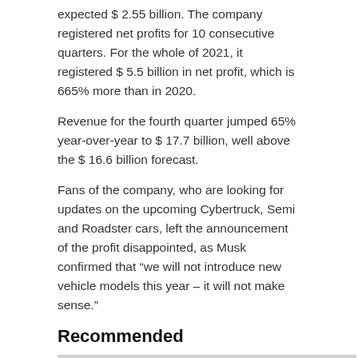expected $ 2.55 billion. The company registered net profits for 10 consecutive quarters. For the whole of 2021, it registered $ 5.5 billion in net profit, which is 665% more than in 2020.
Revenue for the fourth quarter jumped 65% year-over-year to $ 17.7 billion, well above the $ 16.6 billion forecast.
Fans of the company, who are looking for updates on the upcoming Cybertruck, Semi and Roadster cars, left the announcement of the profit disappointed, as Musk confirmed that “we will not introduce new vehicle models this year – it will not make sense.”
Recommended
[Figure (photo): Tesla Supercharger stations with multiple charging units showing the TESLA logo in red and white, with a blue car partially visible on the left.]